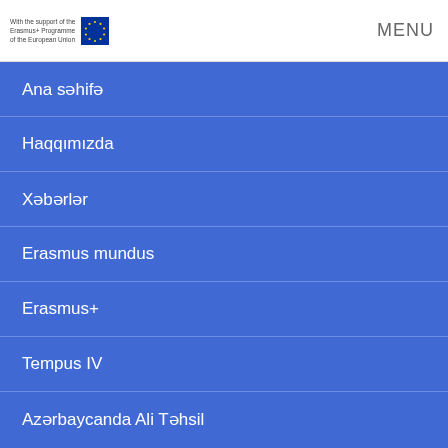With the support of the Erasmus+ Programme of the European Union  MENU
Ana səhifə
Haqqımızda
Xəbərlər
Erasmus mundus
Erasmus+
Tempus IV
Azərbaycanda Ali Təhsil